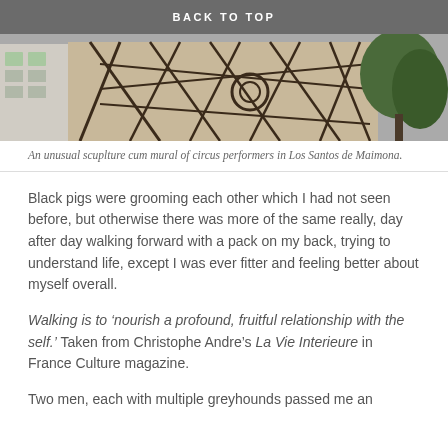BACK TO TOP
[Figure (photo): An outdoor sculpture/mural featuring dark metal lattice-work patterns resembling circus performers, mounted on a wall. Buildings and trees visible in background.]
An unusual scuplture cum mural of circus performers in Los Santos de Maimona.
Black pigs were grooming each other which I had not seen before, but otherwise there was more of the same really, day after day walking forward with a pack on my back, trying to understand life, except I was ever fitter and feeling better about myself overall.
Walking is to ‘nourish a profound, fruitful relationship with the self.’ Taken from Christophe Andre’s La Vie Interieure in France Culture magazine.
Two men, each with multiple greyhounds passed me an